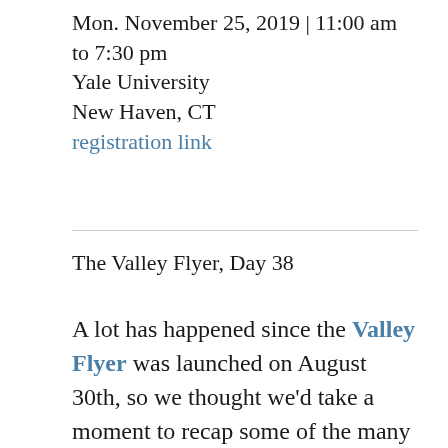Mon. November 25, 2019 | 11:00 am to 7:30 pm
Yale University
New Haven, CT
registration link
The Valley Flyer, Day 38
A lot has happened since the Valley Flyer was launched on August 30th, so we thought we'd take a moment to recap some of the many highlights.